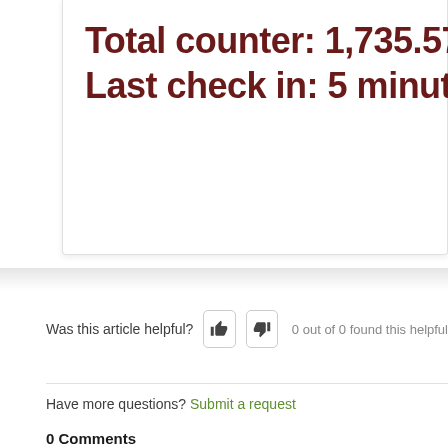Total counter: 1,735.57 ft²
Last check in: 5 minutes a
Was this article helpful?  0 out of 0 found this helpful
Have more questions? Submit a request
0 Comments
Please sign in to leave a comment.